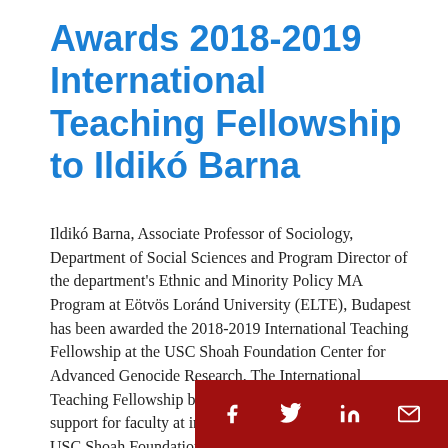Awards 2018-2019 International Teaching Fellowship to Ildikó Barna
Ildikó Barna, Associate Professor of Sociology, Department of Social Sciences and Program Director of the department's Ethnic and Minority Policy MA Program at Eötvös Loránd University (ELTE), Budapest has been awarded the 2018-2019 International Teaching Fellowship at the USC Shoah Foundation Center for Advanced Genocide Research. The International Teaching Fellowship bestowed by the Center provides support for faculty at institutions that subscribe to the USC Shoah Foundation V... integrate testi...